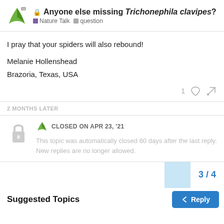Anyone else missing Trichonephila clavipes? Nature Talk · question
I pray that your spiders will also rebound!
Melanie Hollenshead
Brazoria, Texas, USA
1
2 MONTHS LATER
CLOSED ON APR 23, '21
This topic was automatically closed 60 days after the last reply. New replies are no longer allowed.
3 / 4
Reply
Suggested Topics